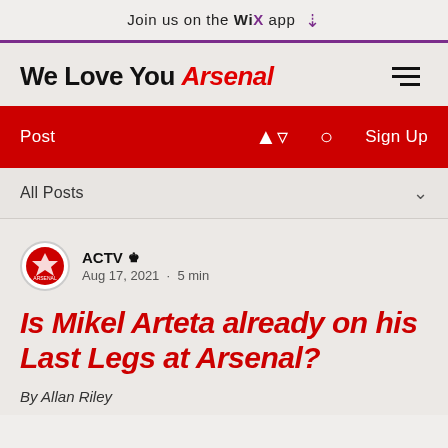Join us on the WiX app
We Love You Arsenal
Post   Sign Up
All Posts
ACTV Admin
Aug 17, 2021 · 5 min
Is Mikel Arteta already on his Last Legs at Arsenal?
By Allan Riley